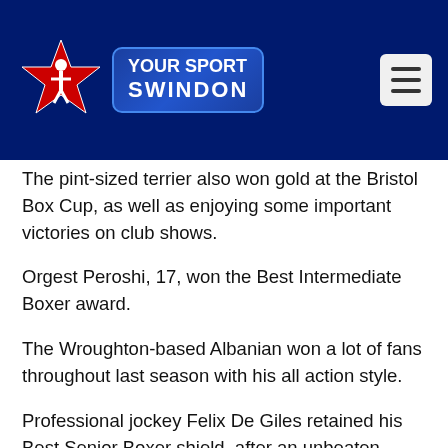[Figure (logo): Your Sport Swindon logo with star graphic on dark navy header bar]
The pint-sized terrier also won gold at the Bristol Box Cup, as well as enjoying some important victories on club shows.
Orgest Peroshi, 17, won the Best Intermediate Boxer award.
The Wroughton-based Albanian won a lot of fans throughout last season with his all action style.
Professional jockey Felix De Giles retained his Best Senior Boxer shield, after an unbeaten season.
Thirteen-year-old Mikey McDonagh took the Best Junior Boxer prize after reaching the national final of last season's schoolboy championship.
Fred Bond won the Best Club Boy award after a season where he was an ever-present in the gym.